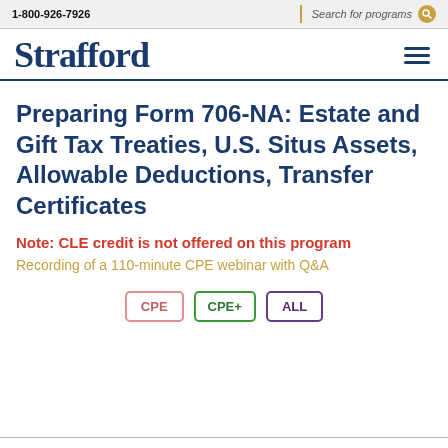1-800-926-7926 | Search for programs
Strafford
Preparing Form 706-NA: Estate and Gift Tax Treaties, U.S. Situs Assets, Allowable Deductions, Transfer Certificates
Note: CLE credit is not offered on this program
Recording of a 110-minute CPE webinar with Q&A
[Figure (other): Three badge icons labeled CPE, CPE+, and ALL]